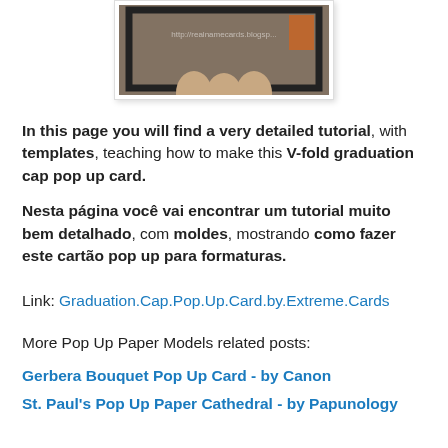[Figure (photo): Photo of hands holding a pop-up card, with watermark URL http://realnamecards.blogspot...]
In this page you will find a very detailed tutorial, with templates, teaching how to make this V-fold graduation cap pop up card.
Nesta página você vai encontrar um tutorial muito bem detalhado, com moldes, mostrando como fazer este cartão pop up para formaturas.
Link: Graduation.Cap.Pop.Up.Card.by.Extreme.Cards
More Pop Up Paper Models related posts:
Gerbera Bouquet Pop Up Card - by Canon
St. Paul's Pop Up Paper Cathedral - by Papunology